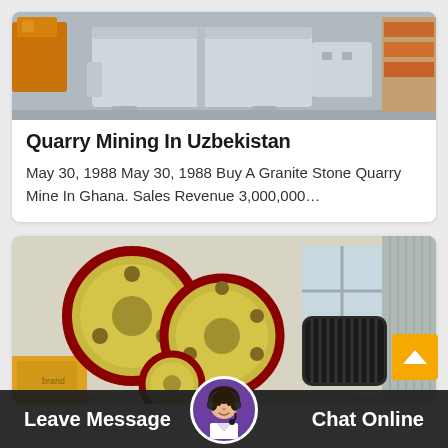[Figure (photo): Industrial jaw crusher machine, light grey color, photographed in a warehouse/factory setting]
Quarry Mining In Uzbekistan
May 30, 1988 May 30, 1988 Buy A Granite Stone Quarry Mine In Ghana. Sales Revenue 3,000,000…
[Figure (photo): Yellow and red industrial wheels/flywheels for mining/crushing equipment, stored in a warehouse]
Leave Message
Chat Online